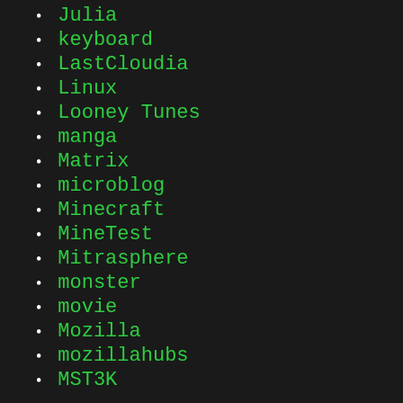Julia
keyboard
LastCloudia
Linux
Looney Tunes
manga
Matrix
microblog
Minecraft
MineTest
Mitrasphere
monster
movie
Mozilla
mozillahubs
MST3K